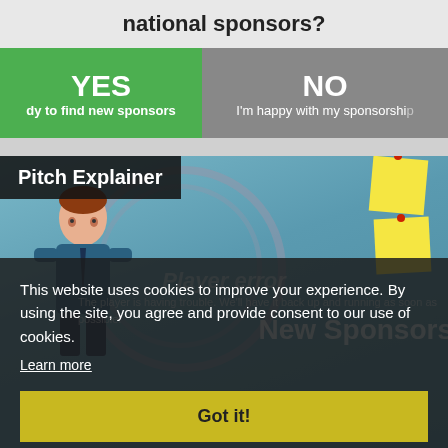national sponsors?
YES
ady to find new sponsors
NO
I'm happy with my sponsorship
[Figure (screenshot): Pitch Explainer video player scene with animated character in suit standing in front of large wheel/gear on teal background, sticky notes on right side, overlaid text: 'Player error' and 'New Sponsors']
This website uses cookies to improve your experience. By using the site, you agree and provide consent to our use of cookies.
Learn more
Got it!